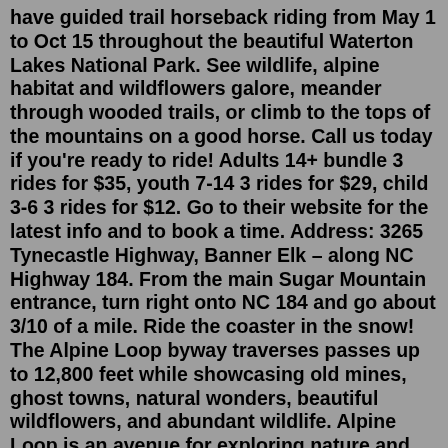have guided trail horseback riding from May 1 to Oct 15 throughout the beautiful Waterton Lakes National Park. See wildlife, alpine habitat and wildflowers galore, meander through wooded trails, or climb to the tops of the mountains on a good horse. Call us today if you're ready to ride! Adults 14+ bundle 3 rides for $35, youth 7-14 3 rides for $29, child 3-6 3 rides for $12. Go to their website for the latest info and to book a time. Address: 3265 Tynecastle Highway, Banner Elk – along NC Highway 184. From the main Sugar Mountain entrance, turn right onto NC 184 and go about 3/10 of a mile. Ride the coaster in the snow! The Alpine Loop byway traverses passes up to 12,800 feet while showcasing old mines, ghost towns, natural wonders, beautiful wildflowers, and abundant wildlife. Alpine Loop is an avenue for exploring nature and history amidst thrilling views and stunning geography. Tackling the loop in its entirety is easily an all-day experience event. Crystal Coaster Alpine Slide. The Crystal Coaster Alpine Slide will be open daily for 5 ski 6 and ski lift...